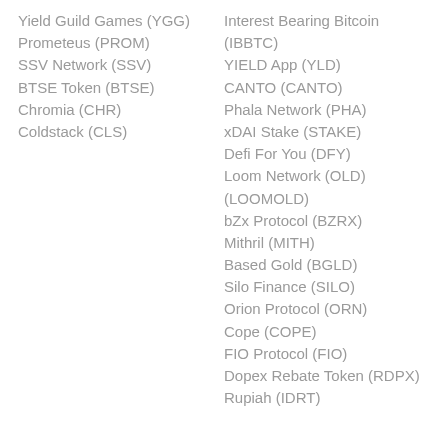Yield Guild Games (YGG)
Prometeus (PROM)
SSV Network (SSV)
BTSE Token (BTSE)
Chromia (CHR)
Coldstack (CLS)
Interest Bearing Bitcoin (IBBTC)
YIELD App (YLD)
CANTO (CANTO)
Phala Network (PHA)
xDAI Stake (STAKE)
Defi For You (DFY)
Loom Network (OLD) (LOOMOLD)
bZx Protocol (BZRX)
Mithril (MITH)
Based Gold (BGLD)
Silo Finance (SILO)
Orion Protocol (ORN)
Cope (COPE)
FIO Protocol (FIO)
Dopex Rebate Token (RDPX)
Rupiah (IDRT)